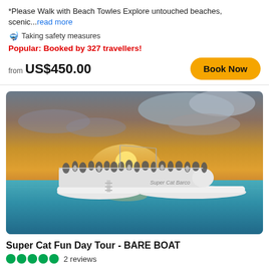*Please Walk with Beach Towles Explore untouched beaches, scenic...read more
🤿 Taking safety measures
Popular: Booked by 327 travellers!
from US$450.00
[Figure (photo): A large white catamaran boat crowded with people on deck, floating in turquoise water under a dramatic sunset sky with orange and gold clouds.]
Super Cat Fun Day Tour - BARE BOAT
2 reviews